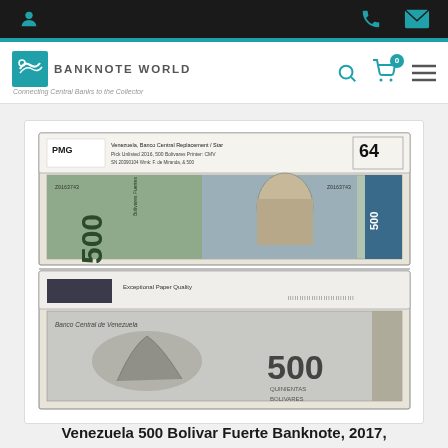Banknote World — Navigation header with logo, search, cart, and menu icons
[Figure (photo): PMG graded Venezuela 500 Bolivar Fuerte banknote, 2017, replacement/star note. Grade 64. Top shows front of note with portrait of F. de Miranda. Bottom shows reverse of note with '500 Quinientas Bolivares' text and Banco Central de Venezuela imprint. PMG label reads: Venezuela, Banco Central, Replacement/Star, Pick Unlisted, 2016, 500 Bolivares, Printer: CMV, SN 20390104, Wmk: F. de Miranda, & 500. Exceptional Paper Quality.]
Venezuela 500 Bolivar Fuerte Banknote, 2017,